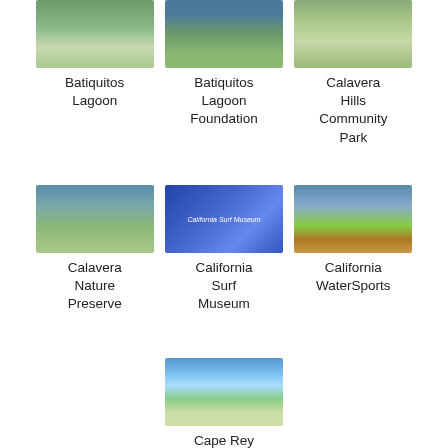[Figure (photo): Batiquitos Lagoon - wetland/nature photo]
Batiquitos Lagoon
[Figure (photo): Batiquitos Lagoon Foundation - water/nature photo]
Batiquitos Lagoon Foundation
[Figure (photo): Calavera Hills Community Park - park/street photo]
Calavera Hills Community Park
[Figure (photo): Calavera Nature Preserve - lake/nature photo]
Calavera Nature Preserve
[Figure (photo): California Surf Museum - building exterior with sign]
California Surf Museum
[Figure (photo): California WaterSports - colorful kayaks on beach]
California WaterSports
[Figure (photo): Cape Rey Carlsbad Beach hotel pool area]
Cape Rey Carlsbad Beach, a Hilton